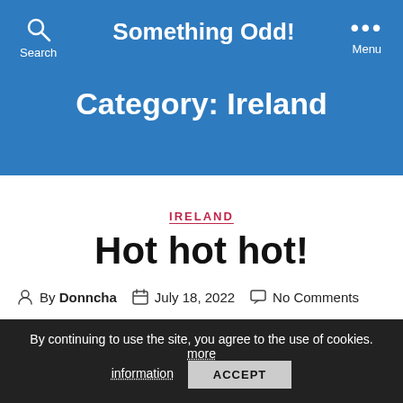Something Odd!
Category: Ireland
IRELAND
Hot hot hot!
By Donncha  July 18, 2022  No Comments
By continuing to use the site, you agree to the use of cookies. more information  ACCEPT